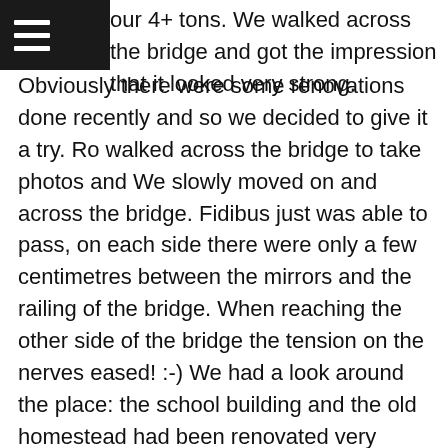our 4+ tons. We walked across the bridge and got the impression that it looked very strong.
Obviously there were some renovations done recently and so we decided to give it a try. Ro walked across the bridge to take photos and We slowly moved on and across the bridge. Fidibus just was able to pass, on each side there were only a few centimetres between the mirrors and the railing of the bridge. When reaching the other side of the bridge the tension on the nerves eased! :-) We had a look around the place: the school building and the old homestead had been renovated very nicely and the pictures gave a good feeling of how life was at the time of the big gold rush. We then went across the next small river and reached the place where Nini and John (we had met John at the Routeburn Falls Hut) waited for us